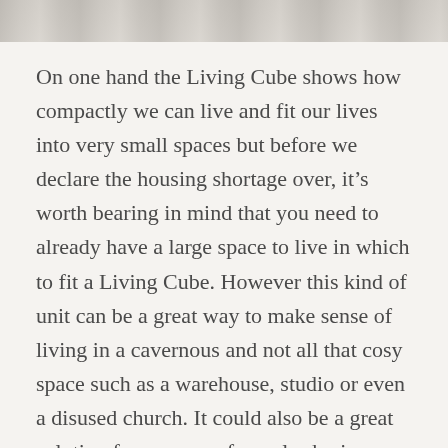[Figure (photo): Top portion of a photograph, partially cropped, showing an interior scene related to the Living Cube concept.]
On one hand the Living Cube shows how compactly we can live and fit our lives into very small spaces but before we declare the housing shortage over, it's worth bearing in mind that you need to already have a large space to live in which to fit a Living Cube. However this kind of unit can be a great way to make sense of living in a cavernous and not all that cosy space such as a warehouse, studio or even a disused church. It could also be a great solution for a group of people sharing a large space to have individual Living Cubes in a similar way to the plywood Sleeping Pods by Sibling Nation.